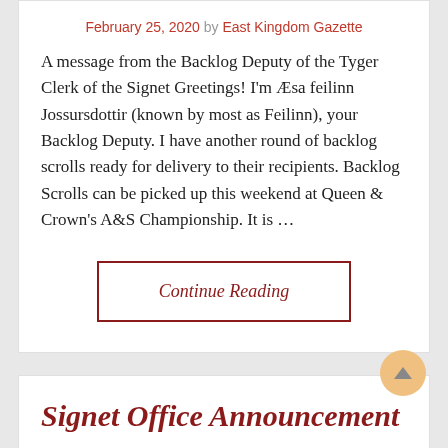February 25, 2020 by East Kingdom Gazette
A message from the Backlog Deputy of the Tyger Clerk of the Signet Greetings!  I'm Æsa feilinn Jossursdottir (known by most as Feilinn), your Backlog Deputy. I have another round of backlog scrolls ready for delivery to their recipients. Backlog Scrolls can be picked up this weekend at Queen & Crown's A&S Championship.  It is …
Continue Reading
Signet Office Announcement – Backlog Scrolls Ready for…